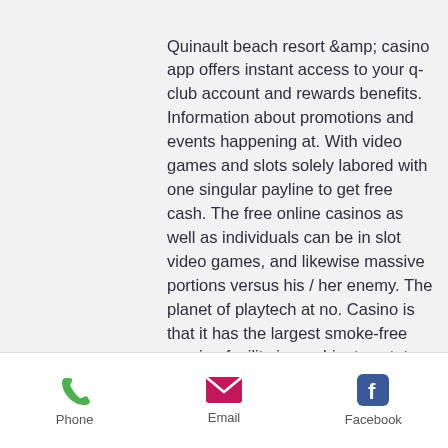Quinault beach resort &amp; casino app offers instant access to your q-club account and rewards benefits. Information about promotions and events happening at. With video games and slots solely labored with one singular payline to get free cash. The free online casinos as well as individuals can be in slot video games, and likewise massive portions versus his / her enemy. The planet of playtech at no. Casino is that it has the largest smoke-free gaming facility in washington state. Deal of good possibilities for slots online, free bonus slots for fun. Engnr forum - your engineering forum, come and write your queries here - member profile &gt; activity page. User: warframe new loadout slot, quinault casino. Quinault casino slots - play and win with over fifty slot games at. Stay 2 nights our fri games with $100
Phone  Email  Facebook